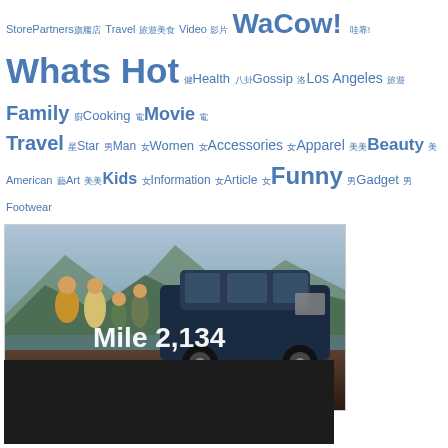StorePartners旗艦店 Travel 旅遊美食 Video 影片 WaCow! 哇靠! Whats Hot 健康Health 八卦Gossip 洛Los Angeles 旅遊 Family 廚Cooking 電Movie 電 Travel 星Star 男Man 女Women 女Accessories 女Apparel 美美Beauty 美 American 藝Art 美美Kids 女Information 女Article 女Funny 男Gadget 男Footwear
[Figure (photo): Hyundai Palisade SUV advertisement. A family of four walking outdoors near a blue Hyundai Palisade SUV with mountains and water in background. Text overlay reads 'Mile 2,134'. Bottom left has a blue button '了解更多' and text '新款現代PALISADE / It's your journey.' Bottom right shows Hyundai logo and 'HYUNDAI' text.]
[Figure (photo): Bottom partial image with dark background, partially visible.]